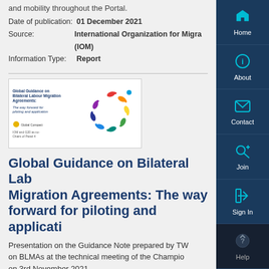and mobility throughout the Portal.
Date of publication: 01 December 2021
Source: International Organization for Migration (IOM)
Information Type: Report
[Figure (illustration): Cover image of IOM document titled 'Global Guidance on Bilateral Labour Migration Agreements: The way forward for piloting and application' showing a circular arrangement of colorful dove/bird icons]
Global Guidance on Bilateral Labour Migration Agreements: The way forward for piloting and application
Presentation on the Guidance Note prepared by TWG on BLMAs at the technical meeting of the Champions on 3rd November 2021.
Date of publication: 03 November 2021